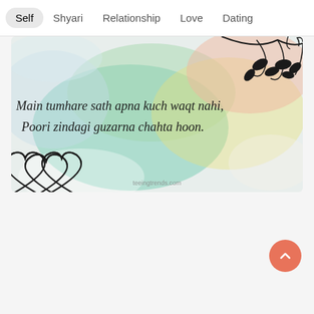Self | Shyari | Relationship | Love | Dating
[Figure (illustration): Colorful watercolor background image with pastel green, teal, yellow, pink, and white gradients. Black floral vine decoration in top right corner. Two interlinked heart outlines in bottom left. Text reads: 'Main tumhare sath apna kuch waqt nahi, Poori zindagi guzarna chahta hoon.' Watermark: teeingtrends.com]